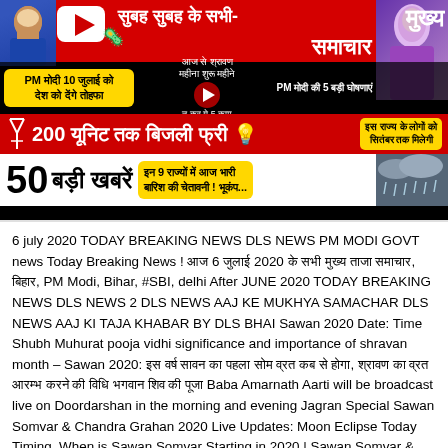[Figure (screenshot): YouTube news thumbnail in Hindi showing breaking news: PM Modi on July 10, 200 units of free electricity, 50 big news headlines, and heavy rain warning in 9 states]
6 july 2020 TODAY BREAKING NEWS DLS NEWS PM MODI GOVT news Today Breaking News ! आज 6 जुलाई 2020 के सभी मुख्य ताजा समाचार, बिहार, PM Modi, Bihar, #SBI, delhi After JUNE 2020 TODAY BREAKING NEWS DLS NEWS 2 DLS NEWS AAJ KE MUKHYA SAMACHAR DLS NEWS AAJ KI TAJA KHABAR BY DLS BHAI Sawan 2020 Date: Time Shubh Muhurat pooja vidhi significance and importance of shravan month – Sawan 2020: इस वर्ष सावन का पहला सोम व्रत कब से होगा, श्रावण का व्रत आरम्भ करने की विधि भगवान शिव की पूजा Baba Amarnath Aarti will be broadcast live on Doordarshan in the morning and evening Jagran Special Sawan Somvar & Chandra Grahan 2020 Live Updates: Moon Eclipse Today Timing, When is Sawan Somvar Starting in 2020 | Sawan Somvar & Chandra Grahan LIVE: चंद्र ग्रहण आज रात; जाने कब से कब तक, कहाँ कहाँ दिखेगा, सूतक काल और ग्रहण के उपाय PM मोदी 10 जुलाई को...